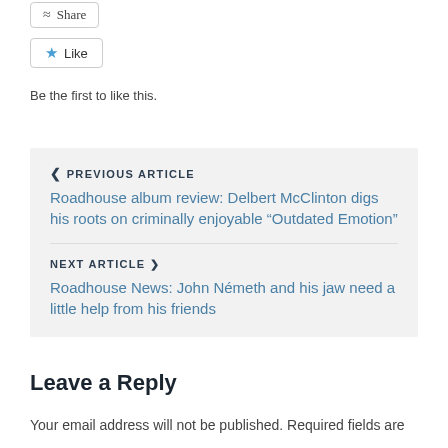Share
Like
Be the first to like this.
PREVIOUS ARTICLE
Roadhouse album review: Delbert McClinton digs his roots on criminally enjoyable “Outdated Emotion”
NEXT ARTICLE
Roadhouse News: John Németh and his jaw need a little help from his friends
Leave a Reply
Your email address will not be published. Required fields are